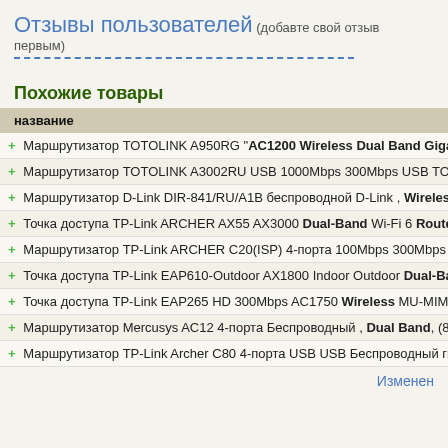Отзывы пользователей (добавте свой отзыв первым)
Похожие товары
| название |
| --- |
| + Маршрутизатор TOTOLINK A950RG "AC1200 Wireless Dual Band Gigab |
| + Маршрутизатор TOTOLINK A3002RU USB 1000Mbps 300Mbps USB TOT |
| + Маршрутизатор D-Link DIR-841/RU/A1B беспроводной D-Link , Wireless |
| + Точка доступа TP-Link ARCHER AX55 AX3000 Dual-Band Wi-Fi 6 Router |
| + Маршрутизатор TP-Link ARCHER C20(ISP) 4-порта 100Mbps 300Mbps A |
| + Точка доступа TP-Link EAP610-Outdoor AX1800 Indoor Outdoor Dual-Bar |
| + Точка доступа TP-Link EAP265 HD 300Mbps AC1750 Wireless MU-MIMO |
| + Маршрутизатор Mercusys AC12 4-порта Беспроводный , Dual Band, (86 |
| + Маршрутизатор TP-Link Archer C80 4-порта USB USB Беспроводный ги |
Изменен